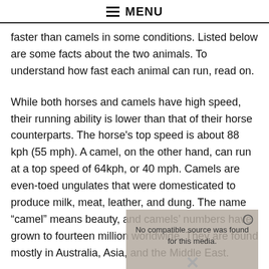MENU
faster than camels in some conditions. Listed below are some facts about the two animals. To understand how fast each animal can run, read on.
While both horses and camels have high speed, their running ability is lower than that of their horse counterparts. The horse's top speed is about 88 kph (55 mph). A camel, on the other hand, can run at a top speed of 64kph, or 40 mph. Camels are even-toed ungulates that were domesticated to produce milk, meat, leather, and dung. The name “camel” means beauty, and camels’ numbers have grown to fourteen million worldwide. They are found mostly in Australia, Asia, and the Middle East.
Camel racing is popular in several countries, including